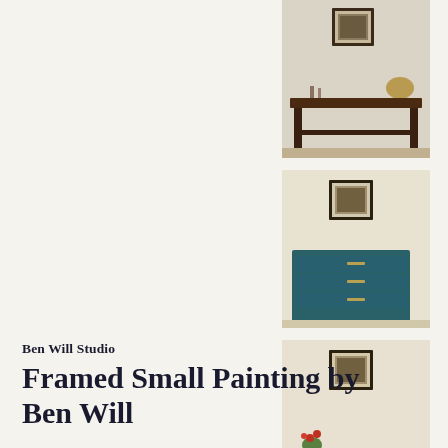[Figure (photo): A framed small painting displayed above a dark wooden console table against a light wall, with decorative objects on the table.]
[Figure (photo): A framed small painting displayed above a teal/dark blue dresser with multiple drawers against a light wall.]
[Figure (photo): A framed small painting displayed above a wooden console table with a plant and red flowers on it, against a light wall.]
Ben Will Studio
Framed Small Painting by Ben Will